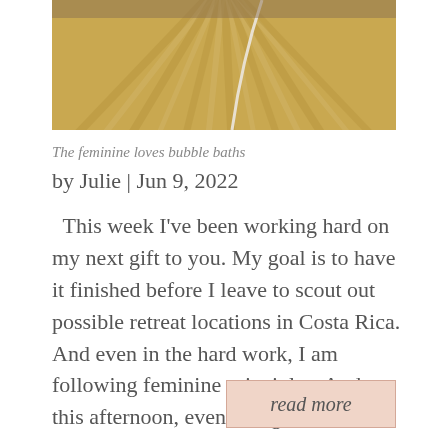[Figure (photo): Close-up photo of wooden slats or fan-like structure in warm golden/tan tones with a white cord or string visible.]
The feminine loves bubble baths
by Julie | Jun 9, 2022
This week I've been working hard on my next gift to you. My goal is to have it finished before I leave to scout out possible retreat locations in Costa Rica. And even in the hard work, I am following feminine principles. And so this afternoon, even though I had…
read more